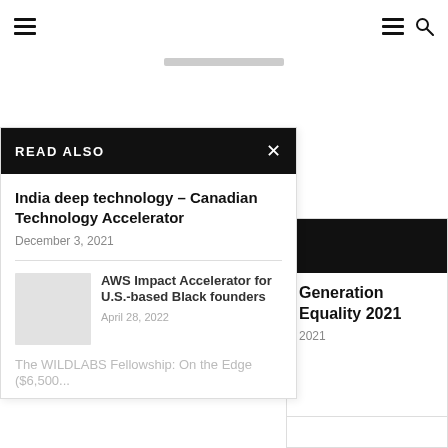Navigation header with hamburger menus and search icon
READ ALSO
India deep technology – Canadian Technology Accelerator
December 3, 2021
AWS Impact Accelerator for U.S.-based Black founders
April 28, 2022
The WILDLABS Fellowship: On the Edge ($6,500...
Generation Equality 2021
2021